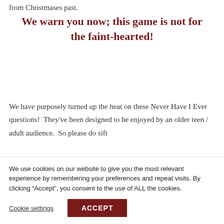from Christmases past.
We warn you now; this game is not for the faint-hearted!
We have purposely turned up the heat on these Never Have I Ever questions!  They've been designed to be enjoyed by an older teen / adult audience.  So please do sift
We use cookies on our website to give you the most relevant experience by remembering your preferences and repeat visits. By clicking "Accept", you consent to the use of ALL the cookies.
Cookie settings
ACCEPT